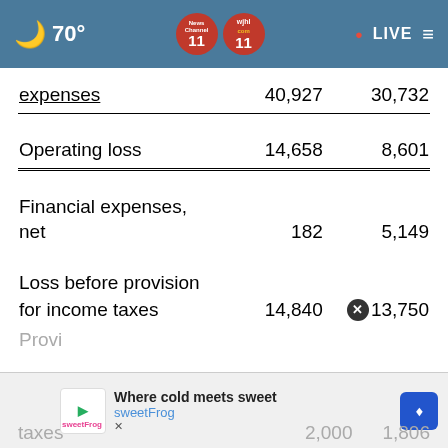70° News Channel 11 wjhl 11 • LIVE
|  | Col1 | Col2 |
| --- | --- | --- |
| expenses | 40,927 | 30,732 |
| Operating loss | 14,658 | 8,601 |
| Financial expenses, net | 182 | 5,149 |
| Loss before provision for income taxes | 14,840 | 13,750 |
| Provi[sion for income] taxes | 2,000 | 1,806 |